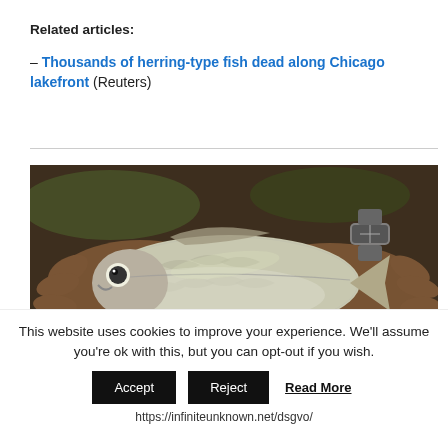Related articles:
– Thousands of herring-type fish dead along Chicago lakefront (Reuters)
[Figure (photo): Two hands cupping a small herring-type fish. Person wearing a watch on right wrist. Dark earthy background.]
This website uses cookies to improve your experience. We'll assume you're ok with this, but you can opt-out if you wish.
Accept  Reject  Read More
https://infiniteunknown.net/dsgvo/